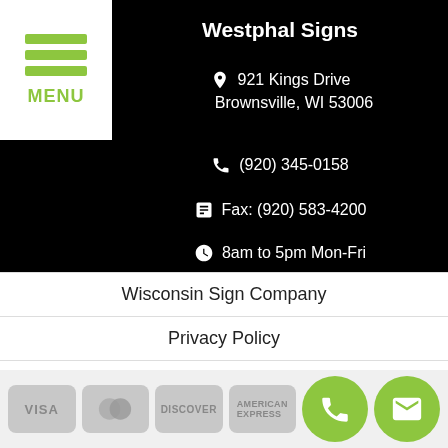Westphal Signs
921 Kings Drive
Brownsville, WI 53006
(920) 345-0158
Fax: (920) 583-4200
8am to 5pm Mon-Fri
Wisconsin Sign Company
Privacy Policy
Terms of Service
Contact Us
[Figure (other): Payment method icons: Visa, Mastercard, Discover, American Express, plus phone and email contact buttons]